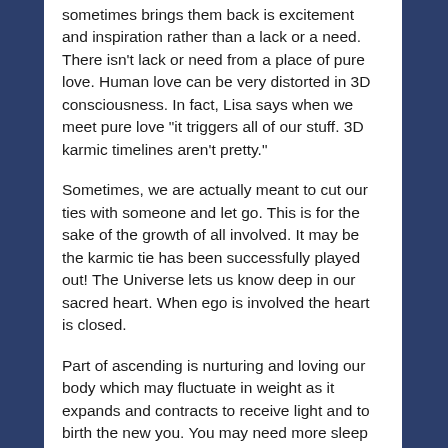sometimes brings them back is excitement and inspiration rather than a lack or a need. There isn't lack or need from a place of pure love. Human love can be very distorted in 3D consciousness. In fact, Lisa says when we meet pure love "it triggers all of our stuff. 3D karmic timelines aren't pretty."
Sometimes, we are actually meant to cut our ties with someone and let go. This is for the sake of the growth of all involved. It may be the karmic tie has been successfully played out! The Universe lets us know deep in our sacred heart. When ego is involved the heart is closed.
Part of ascending is nurturing and loving our body which may fluctuate in weight as it expands and contracts to receive light and to birth the new you. You may need more sleep and naps while linear programs are breaking